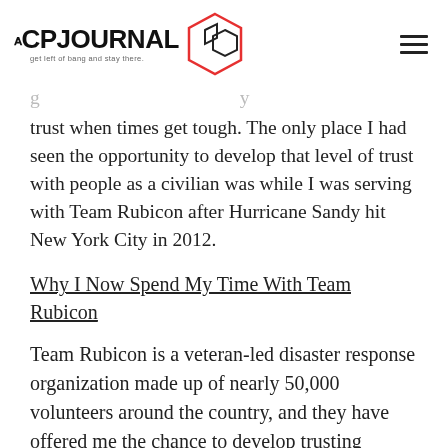[Figure (logo): The CP Journal logo with hexagon graphic and tagline 'get left of bang and stay there.']
trust when times get tough. The only place I had seen the opportunity to develop that level of trust with people as a civilian was while I was serving with Team Rubicon after Hurricane Sandy hit New York City in 2012.
Why I Now Spend My Time With Team Rubicon
Team Rubicon is a veteran-led disaster response organization made up of nearly 50,000 volunteers around the country, and they have offered me the chance to develop trusting relationships with the people that I had been looking for in all of the